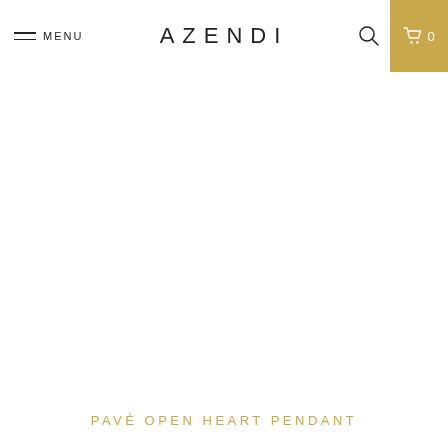MENU   AZENDI   0
[Figure (other): White/blank product image area — jewelry product photo not loaded]
PAVÉ OPEN HEART PENDANT